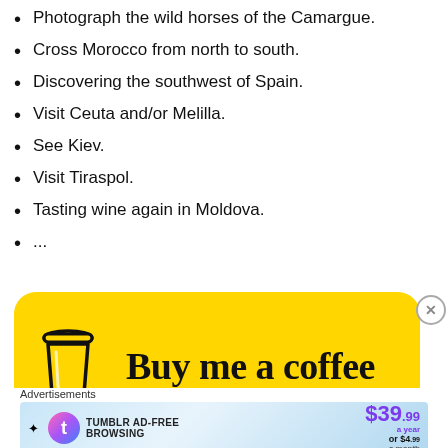Photograph the wild horses of the Camargue.
Cross Morocco from north to south.
Discovering the southwest of Spain.
Visit Ceuta and/or Melilla.
See Kiev.
Visit Tiraspol.
Tasting wine again in Moldova.
...
[Figure (other): Buy me a coffee button — yellow rounded rectangle with coffee cup icon and text 'Buy me a coffee' in cursive font]
Advertisements
[Figure (other): Tumblr Ad-Free Browsing advertisement banner: $39.99 a year or $4.99 a month]